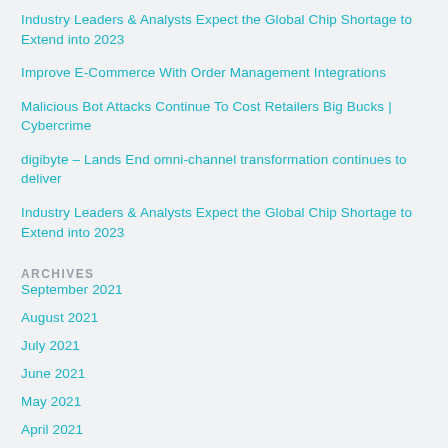Industry Leaders & Analysts Expect the Global Chip Shortage to Extend into 2023
Improve E-Commerce With Order Management Integrations
Malicious Bot Attacks Continue To Cost Retailers Big Bucks | Cybercrime
digibyte – Lands End omni-channel transformation continues to deliver
Industry Leaders & Analysts Expect the Global Chip Shortage to Extend into 2023
ARCHIVES
September 2021
August 2021
July 2021
June 2021
May 2021
April 2021